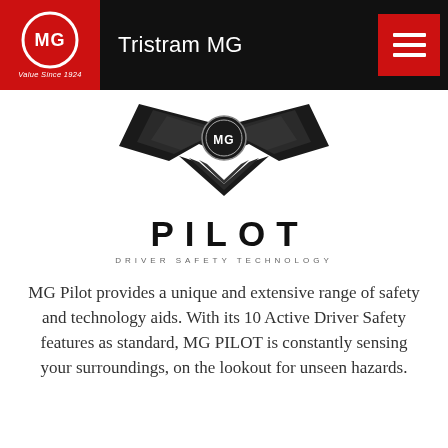Tristram MG
[Figure (logo): MG Pilot winged logo with text PILOT and DRIVER SAFETY TECHNOLOGY]
MG Pilot provides a unique and extensive range of safety and technology aids. With its 10 Active Driver Safety features as standard, MG PILOT is constantly sensing your surroundings, on the lookout for unseen hazards.